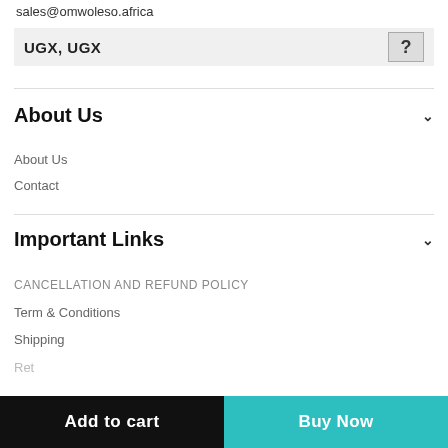sales@omwoleso.africa
UGX, UGX
About Us
About Us
Contact
Important Links
CANCELLATION AND REFUND POLICY
Term & Conditions
Shipping
Add to cart
Buy Now